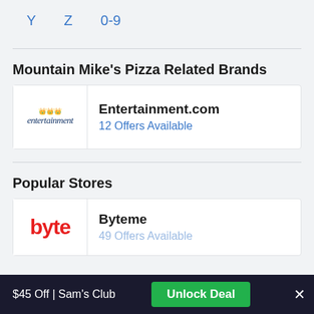Y   Z   0-9
Mountain Mike's Pizza Related Brands
[Figure (logo): Entertainment.com logo with crown and script text]
Entertainment.com
12 Offers Available
Popular Stores
[Figure (logo): Byteme logo with red 'byte' text]
Byteme
49 Offers Available
$45 Off | Sam's Club   Unlock Deal   ×